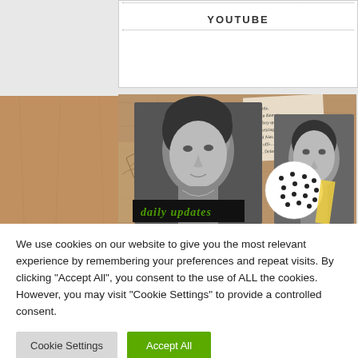[Figure (screenshot): YouTube embed placeholder with dotted border lines and YOUTUBE label centered]
[Figure (photo): Collage of two black-and-white male portraits against a brown textured background with newspaper clippings, sketches, a polka-dot circle, yellow tape, and 'daily updates' text in stylized font]
We use cookies on our website to give you the most relevant experience by remembering your preferences and repeat visits. By clicking "Accept All", you consent to the use of ALL the cookies. However, you may visit "Cookie Settings" to provide a controlled consent.
Cookie Settings
Accept All